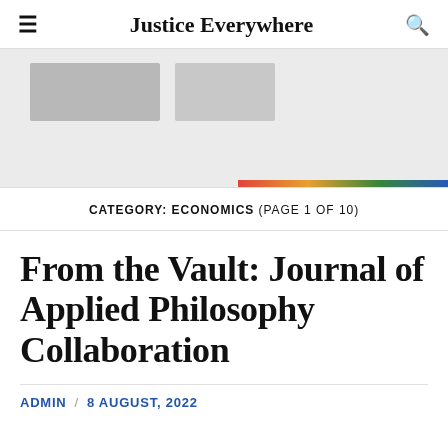Justice Everywhere
[Figure (illustration): Banner image area with partial images and a colored strip on the right]
CATEGORY: ECONOMICS (PAGE 1 OF 10)
From the Vault: Journal of Applied Philosophy Collaboration
ADMIN / 8 AUGUST, 2022